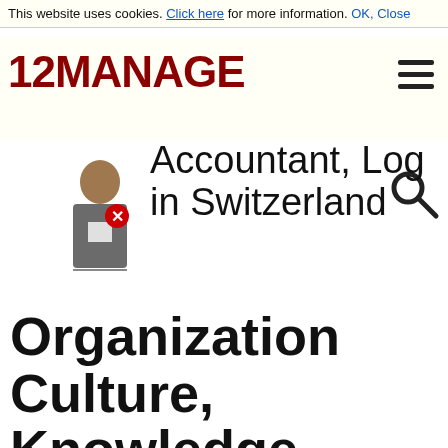This website uses cookies. Click here for more information. OK, Close
[Figure (logo): 12MANAGE logo in dark red bold text with hamburger menu icon]
Accountant, Log in Switzerland
Organization Culture, Knowledge Management and